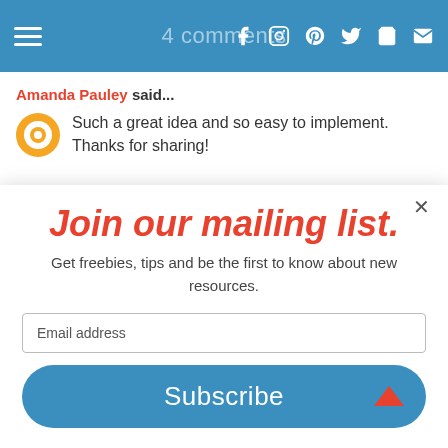4 comments
Amanda Pauley said...
Such a great idea and so easy to implement. Thanks for sharing!
Join our mailing list.
Get freebies, tips and be the first to know about new resources.
Email address
Subscribe